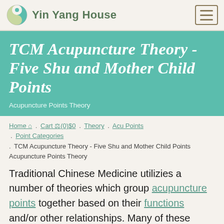Yin Yang House
TCM Acupuncture Theory - Five Shu and Mother Child Points
Acupuncture Points Theory
Home . Cart (0)$0 . Theory . Acu Points . Point Categories . TCM Acupuncture Theory - Five Shu and Mother Child Points Acupuncture Points Theory
Traditional Chinese Medicine utilizies a number of theories which group acupuncture points together based on their functions and/or other relationships. Many of these theories are